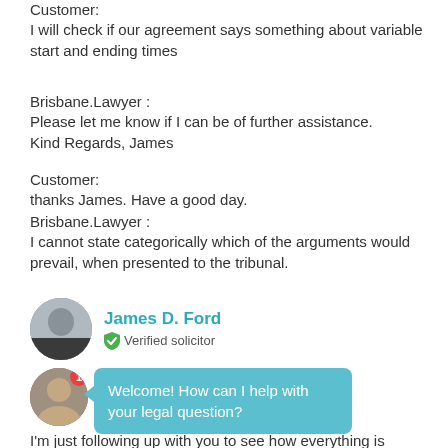Customer:
I will check if our agreement says something about variable start and ending times
Brisbane.Lawyer :
Please let me know if I can be of further assistance.
Kind Regards, James
Customer:
thanks James. Have a good day.
Brisbane.Lawyer :
I cannot state categorically which of the arguments would prevail, when presented to the tribunal.
James D. Ford
Verified solicitor
Welcome! How can I help with your legal question?
I'm just following up with you to see how everything is